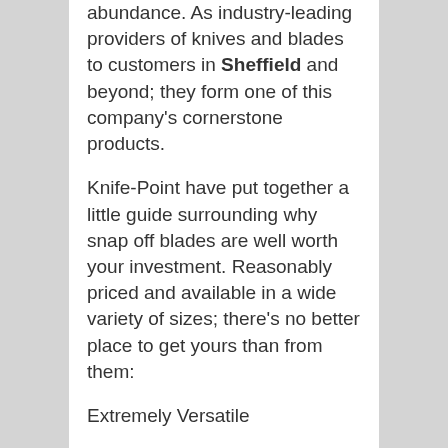abundance. As industry-leading providers of knives and blades to customers in Sheffield and beyond; they form one of this company's cornerstone products.
Knife-Point have put together a little guide surrounding why snap off blades are well worth your investment. Reasonably priced and available in a wide variety of sizes; there's no better place to get yours than from them:
Extremely Versatile
One of the strongest points of snap off blades is that they can be used by tradesman working